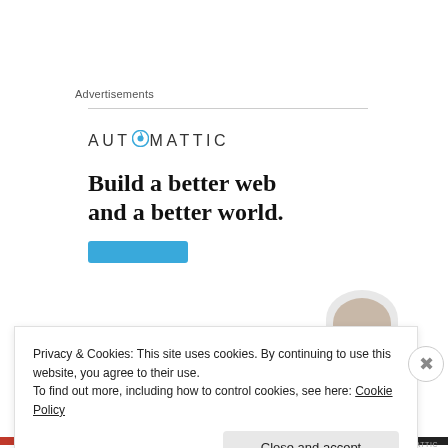Advertisements
[Figure (screenshot): Automattic advertisement banner showing logo, headline 'Build a better web and a better world.' with a blue button and a partial photo of a person]
Privacy & Cookies: This site uses cookies. By continuing to use this website, you agree to their use.
To find out more, including how to control cookies, see here: Cookie Policy
Close and accept